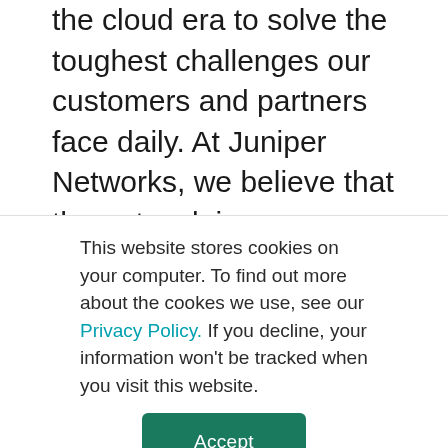the cloud era to solve the toughest challenges our customers and partners face daily. At Juniper Networks, we believe that the network is a resource for sharing knowledge and human advancement that changes the world. We are committed to imagining groundbreaking ways to deliver automated, scalable and secure networks to move at the speed of business.
This website stores cookies on your computer. To find out more about the cookes we use, see our Privacy Policy. If you decline, your information won't be tracked when you visit this website.
Accept